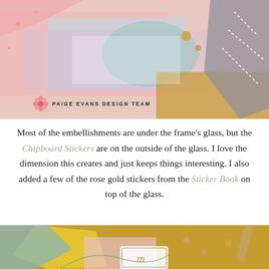[Figure (photo): Close-up craft/scrapbooking photo showing colorful layered papers with pink, blue, teal watercolor textures, gold glitter, and a gray decorative element on the right side]
PAIGE EVANS DESIGN TEAM
Most of the embellishments are under the frame’s glass, but the Chipboard Stickers are on the outside of the glass. I love the dimension this creates and just keeps things interesting. I also added a few of the rose gold stickers from the Sticker Book on top of the glass.
[Figure (photo): Close-up craft photo showing colorful scrapbooking elements including yellow star shape, pink and teal floral papers, gold glitter background, and a decorative tag with letter visible at bottom]